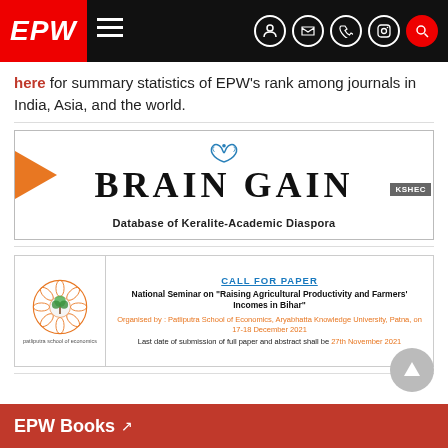EPW [nav bar with icons]
here for summary statistics of EPW's rank among journals in India, Asia, and the world.
[Figure (other): BRAIN GAIN - Database of Keralite-Academic Diaspora advertisement with orange arrow and KSHEC badge]
[Figure (other): CALL FOR PAPER - National Seminar on Raising Agricultural Productivity and Farmers' Incomes in Bihar, organised by Patliputra School of Economics, Aryabhatta Knowledge University, Patna, on 17-18 December 2021, Last date of submission of full paper and abstract shall be 27th November 2021]
EPW Books [external link]